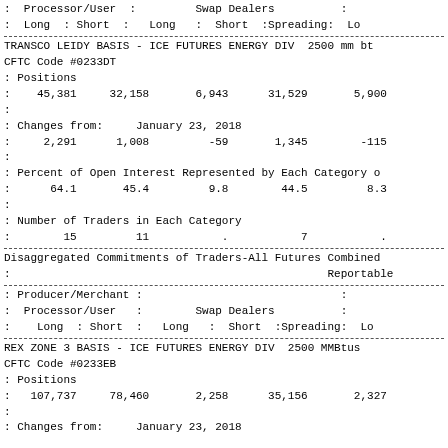| : | Processor/User | : |  | Swap Dealers |  | : |
| : | Long | : | Short | : | Long | : | Short | :Spreading: | Lo |
| TRANSCO LEIDY BASIS - ICE FUTURES ENERGY DIV  2500 mm bt |
| CFTC Code #0233DT |
| : Positions |
| : | 45,381 | 32,158 | 6,943 | 31,529 | 5,900 |
| : |
| : Changes from: | January 23, 2018 |
| : | 2,291 | 1,008 | -59 | 1,345 | -115 |
| : |
| : Percent of Open Interest Represented by Each Category o |
| : | 64.1 | 45.4 | 9.8 | 44.5 | 8.3 |
| : |
| : Number of Traders in Each Category |
| : | 15 | 11 | . | 7 | . |
| Disaggregated Commitments of Traders-All Futures Combined |
| : | Reportable |
| : Producer/Merchant : |  |  | : |
| : Processor/User : |  | Swap Dealers | : |
| : Long : Short : | Long | : | Short | :Spreading: | Lo |
| REX ZONE 3 BASIS - ICE FUTURES ENERGY DIV  2500 MMBtus |
| CFTC Code #0233EB |
| : Positions |
| : | 107,737 | 78,460 | 2,258 | 35,156 | 2,327 |
| : |
| : Changes from: | January 23, 2018 |